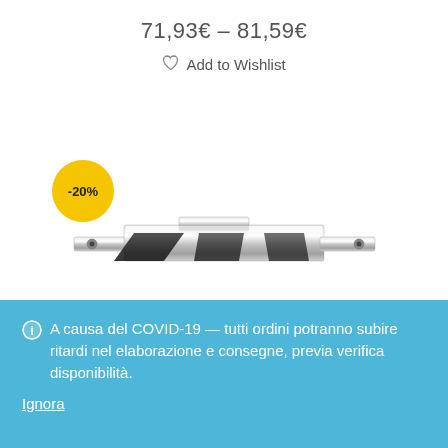71,93€ – 81,59€
♡ Add to Wishlist
[Figure (photo): A chrome/silver metal window latch or stay bar hardware piece, shown on white background. A yellow circular badge with -20% discount label is visible on the left side of the product image area.]
A causa del COVID-19 — tutti ordini potranno subire ritardi nel elaborazione e consegne, previa verifica disponibilità. Ignora